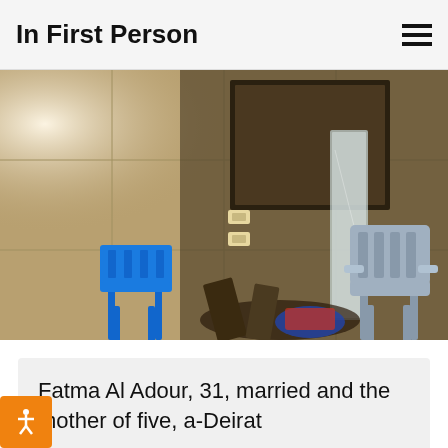In First Person
[Figure (photo): Interior room with damaged walls, a small blue plastic child's chair on the left, a gray plastic adult chair on the right, a tall mirror or glass panel leaning against the wall in the center, and various items scattered on the floor. The walls appear scorched or darkened.]
Fatma Al Adour, 31, married and the mother of five, a-Deirat